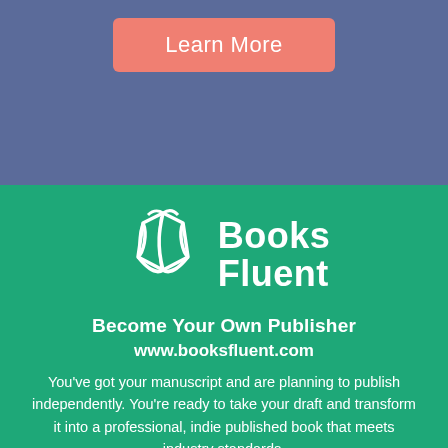[Figure (logo): Salmon/coral colored 'Learn More' button on a slate blue background]
[Figure (logo): BooksFluent logo: white outline of an open book/flag icon next to bold white text 'Books Fluent' on a green background]
Become Your Own Publisher
www.booksfluent.com
You've got your manuscript and are planning to publish independently. You're ready to take your draft and transform it into a professional, indie published book that meets industry standards.